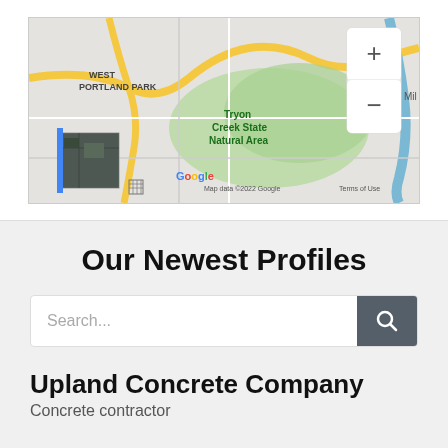[Figure (map): Google Map showing West Portland Park and Tryon Creek State Natural Area with zoom controls and satellite thumbnail. Map data ©2022 Google. Terms of Use.]
Our Newest Profiles
Search...
Upland Concrete Company
Concrete contractor